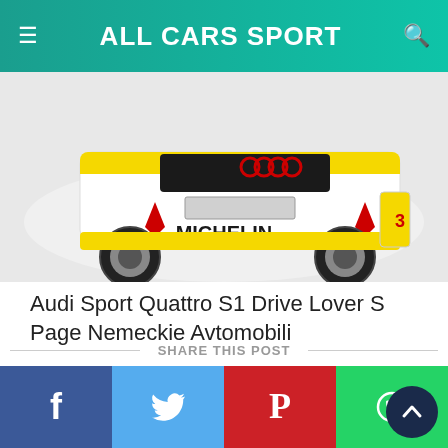ALL CARS SPORT
[Figure (photo): Rear view of a white and yellow Audi Sport Quattro S1 race car with Michelin sponsorship livery and red Audi rings logo visible]
Audi Sport Quattro S1 Drive Lover S Page Nemeckie Avtomobili
SHARE THIS POST
[Figure (infographic): Social sharing bar with Facebook, Twitter, Pinterest, and WhatsApp buttons, plus a scroll-to-top button]